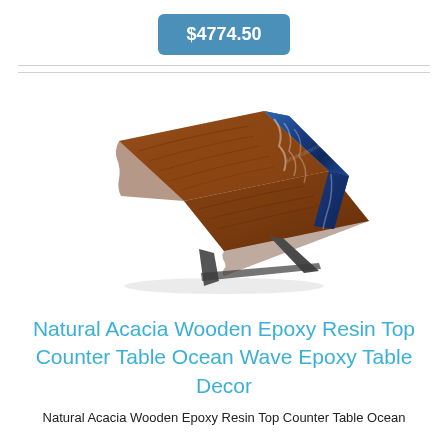$4774.50
[Figure (photo): A river epoxy resin dining table made from natural acacia wood slabs with a blue ocean-wave epoxy resin inlay running through the center, supported by metal cross-legs, photographed on a white background.]
Natural Acacia Wooden Epoxy Resin Top Counter Table Ocean Wave Epoxy Table Decor
Natural Acacia Wooden Epoxy Resin Top Counter Table Ocean